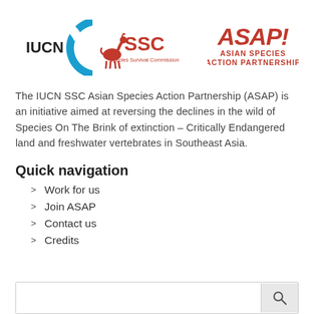[Figure (logo): IUCN logo (blue circular C with IUCN text), SSC Species Survival Commission logo (red antelope with SSC text), and ASAP! Asian Species Action Partnership logo (red grunge text)]
The IUCN SSC Asian Species Action Partnership (ASAP) is an initiative aimed at reversing the declines in the wild of Species On The Brink of extinction – Critically Endangered land and freshwater vertebrates in Southeast Asia.
Quick navigation
Work for us
Join ASAP
Contact us
Credits